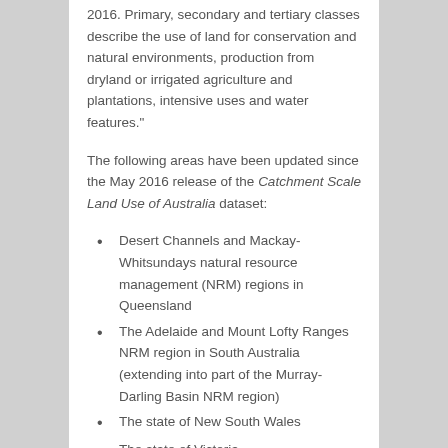2016. Primary, secondary and tertiary classes describe the use of land for conservation and natural environments, production from dryland or irrigated agriculture and plantations, intensive uses and water features."
The following areas have been updated since the May 2016 release of the Catchment Scale Land Use of Australia dataset:
Desert Channels and Mackay-Whitsundays natural resource management (NRM) regions in Queensland
The Adelaide and Mount Lofty Ranges NRM region in South Australia (extending into part of the Murray-Darling Basin NRM region)
The state of New South Wales
The state of Victoria